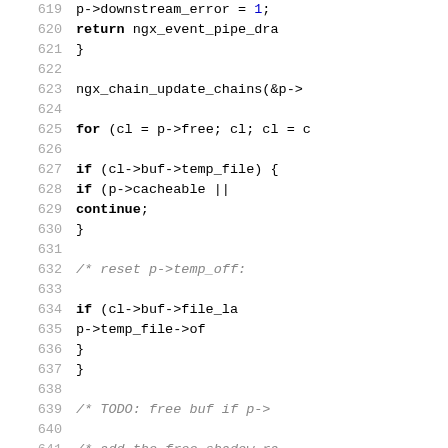[Figure (screenshot): Source code listing showing C code lines 619–648, with line numbers on the left in gray and code on the right in monospace font. Keywords are bold. Comments are gray/italic.]